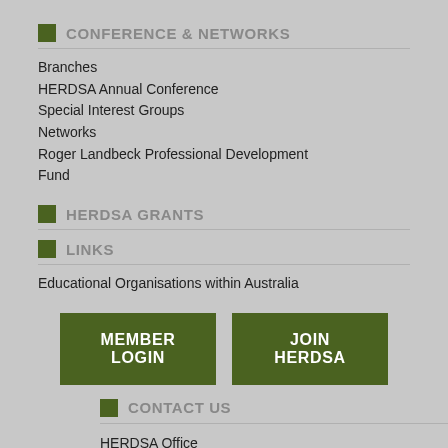CONFERENCE & NETWORKS
Branches
HERDSA Annual Conference
Special Interest Groups
Networks
Roger Landbeck Professional Development Fund
HERDSA GRANTS
LINKS
Educational Organisations within Australia
MEMBER LOGIN
JOIN HERDSA
CONTACT US
HERDSA Office
PO Box 6106
Hammondville, NSW  2170